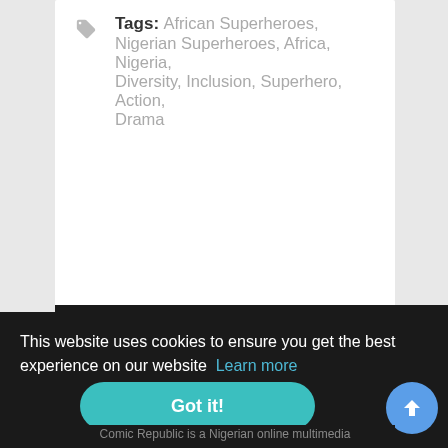Tags: African Superheroes, Nigerian Superheroes, Africa, Nigeria, Diversity, Inclusion, Superhero, Action, Drama
[Figure (logo): Comic Republic circular logo with red CR letters on white background, red border with 'COMIC REPUBLIC' text around it, on dark background]
This website uses cookies to ensure you get the best experience on our website  Learn more
Got it!
Comic Republic is a Nigerian online multimedia